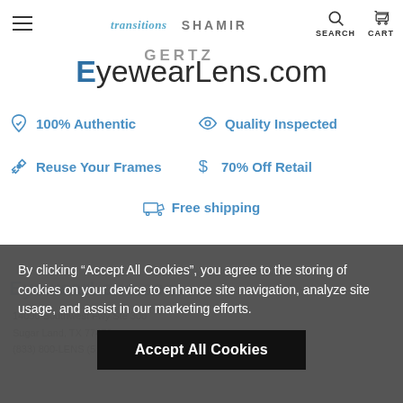[Figure (logo): EyewearLens.com website screenshot showing header with Transitions, Shamir brand logos, hamburger menu, search and cart icons, and the EyewearLens.com logo with blue E mark]
100% Authentic
Quality Inspected
Reuse Your Frames
70% Off Retail
Free shipping
By clicking “Accept All Cookies”, you agree to the storing of cookies on your device to enhance site navigation, analyze site usage, and assist in our marketing efforts.
Accept All Cookies
14090 Southwest Fwy Ste 300
Sugar Land, TX 77478
(833) 800-LENS (5